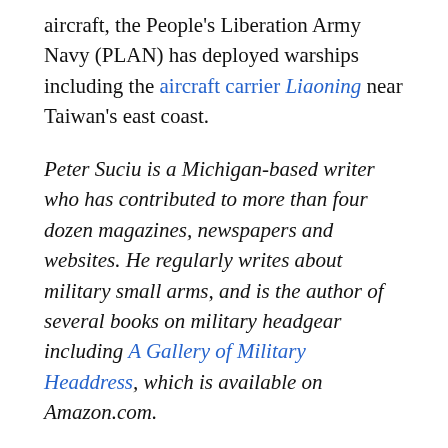aircraft, the People's Liberation Army Navy (PLAN) has deployed warships including the aircraft carrier Liaoning near Taiwan's east coast.
Peter Suciu is a Michigan-based writer who has contributed to more than four dozen magazines, newspapers and websites. He regularly writes about military small arms, and is the author of several books on military headgear including A Gallery of Military Headdress, which is available on Amazon.com.
In this article: ADIZ, China, China-Taiwan Tensions, China-Taiwan War, Chinese Military, Military, Taiwan